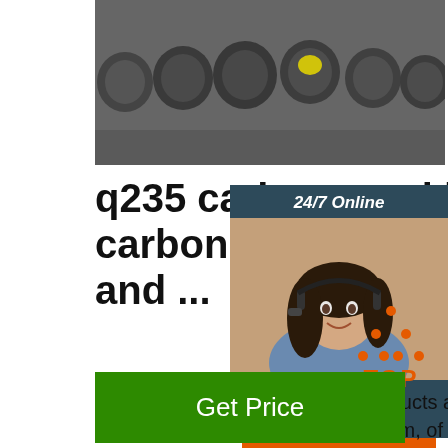[Figure (photo): Steel round bars/rods viewed from the end, showing circular cross-sections with colored marks on a dark background]
q235 carbon steel bar, carbon steel bar Suppli and ...
[Figure (photo): 24/7 Online chat widget with photo of woman wearing headset, 'Click here for free chat!' text, and QUOTATION button]
14,655 q235 carbon steel bar products are for sale by suppliers on Alibaba.com, of which steel round bars accounts for 24%, metal building materials accounts for 10%, and steel re accounts for 1%. A wide variety of q235 carbon steel bar options are available to you, such as jis, aisi, and astm.
[Figure (logo): TOP badge with orange triangle dots and orange TOP text]
Get Price